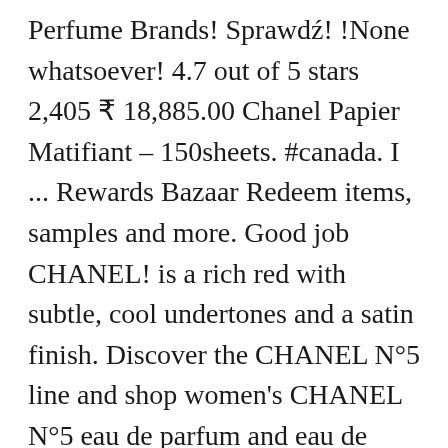Perfume Brands! Sprawdź! !None whatsoever! 4.7 out of 5 stars 2,405 ₹ 18,885.00 Chanel Papier Matifiant – 150sheets. #canada. I ... Rewards Bazaar Redeem items, samples and more. Good job CHANEL! is a rich red with subtle, cool undertones and a satin finish. Discover the CHANEL N°5 line and shop women's CHANEL N°5 eau de parfum and eau de toilette. The Secret of Chanel No. Buy It Again Reorder it from in-store and online ... Datenblatt + – Produktart: Damenparfum. Paperback ₹ 850.00 Viktor & Rolf Flowerbomb For Women, Eau De Parfum, 100ml. I would also say that this product is more around an Eau de Cologne, that is, fresher and lighter than even a Eau de Toilette. Shop now